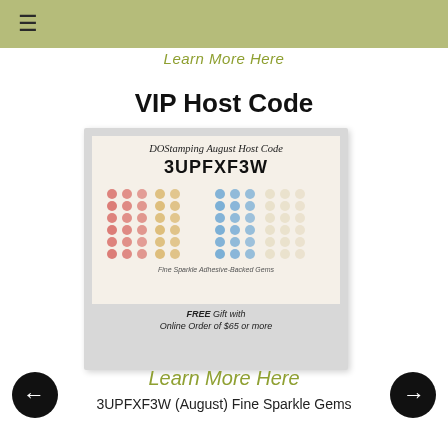≡
Learn More Here
VIP Host Code
[Figure (photo): Polaroid-style card showing DOStamping August Host Code 3UPFXF3W with colorful adhesive-backed gem samples (red, yellow, blue, white/cream), labeled 'Fine Sparkle Adhesive-Backed Gems' and captioned 'FREE Gift with Online Order of $65 or more']
Learn More Here
3UPFXF3W (August) Fine Sparkle Gems